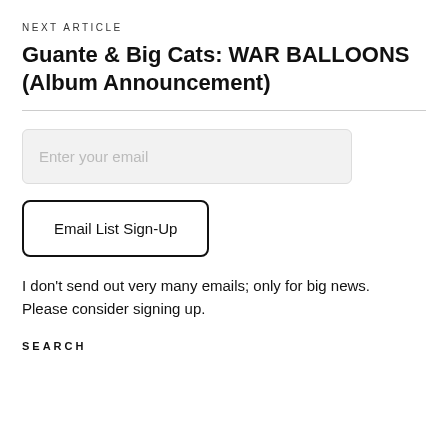NEXT ARTICLE
Guante & Big Cats: WAR BALLOONS (Album Announcement)
Enter your email
Email List Sign-Up
I don't send out very many emails; only for big news. Please consider signing up.
SEARCH